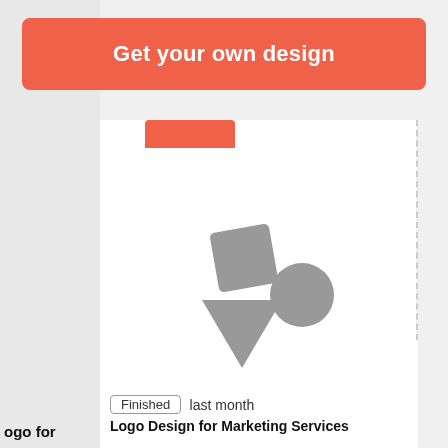Get your own design
[Figure (illustration): Placeholder image icon showing a tilted square, a triangle, and a circle in gray, representing an empty design preview card]
Finished  last month
Logo Design for Marketing Services
ogo for